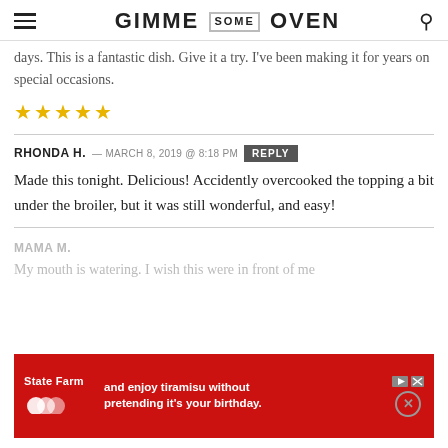GIMME SOME OVEN
days. This is a fantastic dish. Give it a try. I've been making it for years on special occasions.
★★★★★
RHONDA H. — MARCH 8, 2019 @ 8:18 PM REPLY
Made this tonight. Delicious! Accidently overcooked the topping a bit under the broiler, but it was still wonderful, and easy!
MAMA M.
My mouth is watering. I wish this were in front of me.
[Figure (other): State Farm advertisement banner: red background with State Farm logo and text 'and enjoy tiramisu without pretending it's your birthday.']